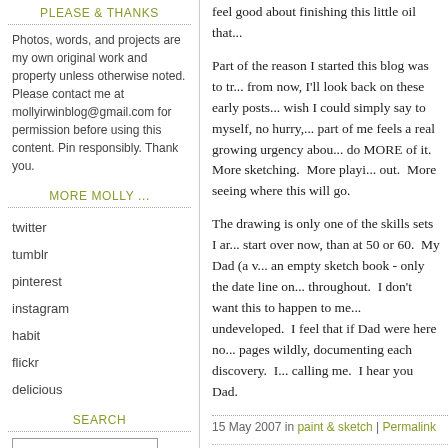PLEASE & THANKS
Photos, words, and projects are my own original work and property unless otherwise noted. Please contact me at mollyirwinblog@gmail.com for permission before using this content. Pin responsibly. Thank you.
MORE MOLLY ...
twitter
tumblr
pinterest
instagram
habit
flickr
delicious
SEARCH
Part of the reason I started this blog was to tr... from now, I'll look back on these early posts... wish I could simply say to myself, no hurry,... part of me feels a real growing urgency abou... do MORE of it. More sketching. More playi... out. More seeing where this will go.
The drawing is only one of the skills sets I ar... start over now, than at 50 or 60. My Dad (a v... an empty sketch book - only the date line on... throughout. I don't want this to happen to me... undeveloped. I feel that if Dad were here no... pages wildly, documenting each discovery. I... calling me. I hear you Dad.
15 May 2007 in paint & sketch | Permalink
lee said... I bet it turned out